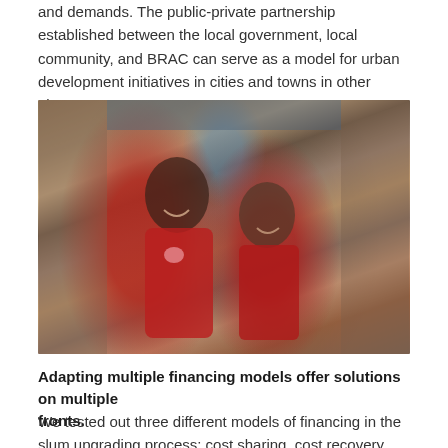and demands. The public-private partnership established between the local government, local community, and BRAC can serve as a model for urban development initiatives in cities and towns in other places.
[Figure (photo): Two children smiling in a narrow alleyway between brick walls. The taller child on the left wears a red t-shirt with a heart design, the shorter child on the right wears a red button-up shirt.]
Adapting multiple financing models offer solutions on multiple fronts.
We tested out three different models of financing in the slum upgrading process: cost sharing, cost recovery, and enterprise model. For infrastructural upgrading, we adapted a cost sharing